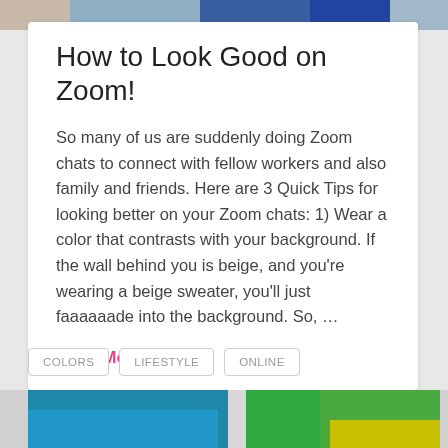[Figure (photo): Partial photo visible at top of page showing people, cropped]
How to Look Good on Zoom!
So many of us are suddenly doing Zoom chats to connect with fellow workers and also family and friends. Here are 3 Quick Tips for looking better on your Zoom chats: 1) Wear a color that contrasts with your background. If the wall behind you is beige, and you're wearing a beige sweater, you'll just faaaaaade into the background. So, …
Read More
COLORS
LIFESTYLE
ONLINE
[Figure (photo): Partial photo visible at bottom of page showing colorful clothing (teal and green/yellow)]